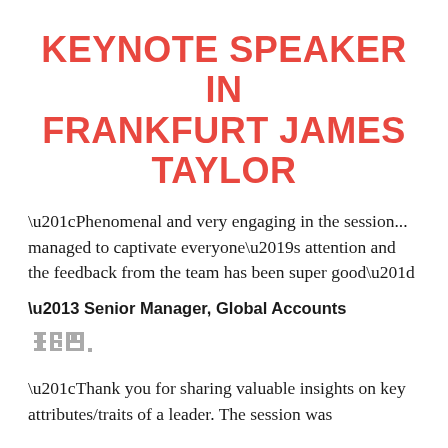KEYNOTE SPEAKER IN FRANKFURT JAMES TAYLOR
“Phenomenal and very engaging in the session... managed to captivate everyone’s attention and the feedback from the team has been super good”
– Senior Manager, Global Accounts
[Figure (logo): IBM logo in grey striped lettering]
“Thank you for sharing valuable insights on key attributes/traits of a leader. The session was